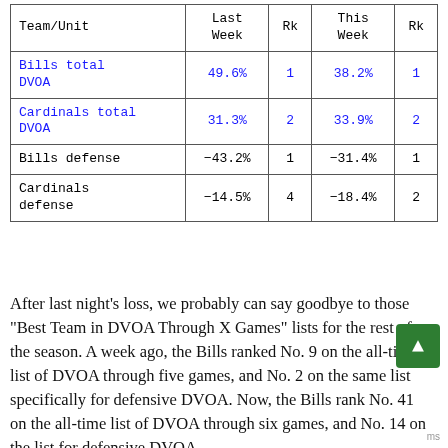| Team/Unit | Last Week | Rk | This Week | Rk |
| --- | --- | --- | --- | --- |
| Bills total DVOA | 49.6% | 1 | 38.2% | 1 |
| Cardinals total DVOA | 31.3% | 2 | 33.9% | 2 |
| Bills defense | -43.2% | 1 | -31.4% | 1 |
| Cardinals defense | -14.5% | 4 | -18.4% | 2 |
After last night's loss, we probably can say goodbye to those "Best Team in DVOA Through X Games" lists for the rest of the season. A week ago, the Bills ranked No. 9 on the all-time list of DVOA through five games, and No. 2 on the same list specifically for defensive DVOA. Now, the Bills rank No. 41 on the all-time list of DVOA through six games, and No. 14 on the list for defensive DVOA.